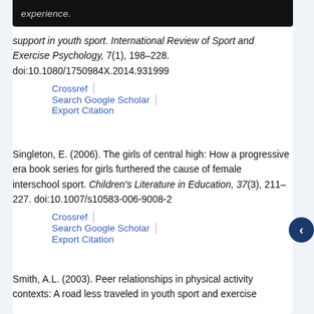experience.
support in youth sport. International Review of Sport and Exercise Psychology, 7(1), 198–228. doi:10.1080/1750984X.2014.931999
Crossref | Search Google Scholar | Export Citation
Singleton, E. (2006). The girls of central high: How a progressive era book series for girls furthered the cause of female interschool sport. Children's Literature in Education, 37(3), 211–227. doi:10.1007/s10583-006-9008-2
Crossref | Search Google Scholar | Export Citation
Smith, A.L. (2003). Peer relationships in physical activity contexts: A road less traveled in youth sport and exercise